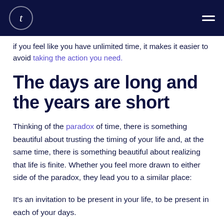t [logo with circular border]
if you feel like you have unlimited time, it makes it easier to avoid taking the action you need.
The days are long and the years are short
Thinking of the paradox of time, there is something beautiful about trusting the timing of your life and, at the same time, there is something beautiful about realizing that life is finite. Whether you feel more drawn to either side of the paradox, they lead you to a similar place:
It's an invitation to be present in your life, to be present in each of your days.